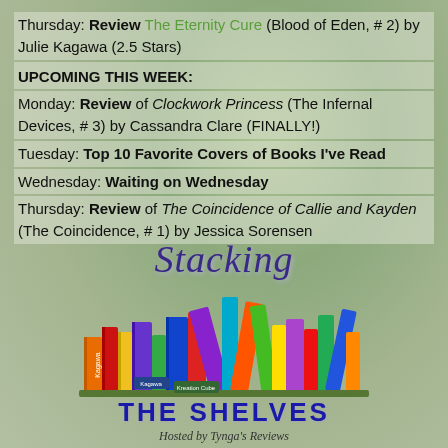Thursday: Review The Eternity Cure (Blood of Eden, # 2) by Julie Kagawa (2.5 Stars)
UPCOMING THIS WEEK:
Monday: Review of Clockwork Princess (The Infernal Devices, # 3) by Cassandra Clare (FINALLY!)
Tuesday: Top 10 Favorite Covers of Books I've Read
Wednesday: Waiting on Wednesday
Thursday: Review of The Coincidence of Callie and Kayden (The Coincidence, # 1) by Jessica Sorensen
[Figure (logo): Stacking The Shelves logo with colorful books illustration, hosted by Tynga's Reviews]